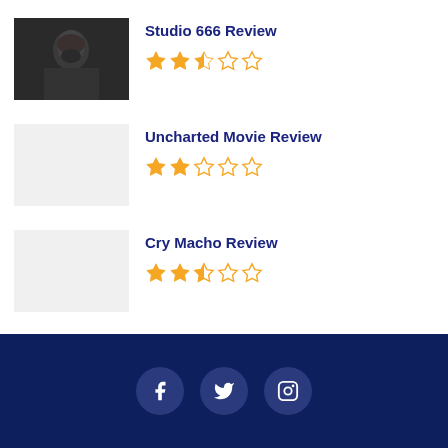Studio 666 Review — 2.5/5 stars
Uncharted Movie Review — 2/5 stars
Cry Macho Review — 2.5/5 stars
Spider-Man No Way Home Review — 5/5 stars
Social links: Facebook, Twitter, Instagram